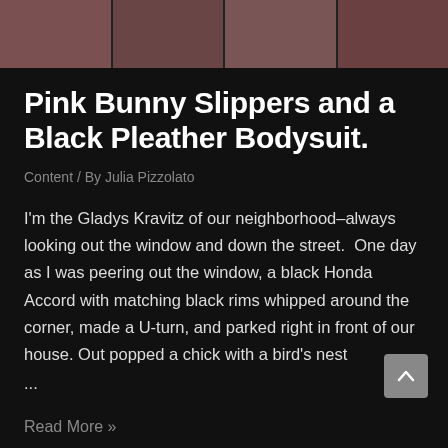[Figure (photo): Photo strip at top of page showing a person or scene, partially visible, with brownish-pink tones divided into panels]
Pink Bunny Slippers and a Black Pleather Bodysuit.
Content / By Julia Pizzolato
I'm the Gladys Kravitz of our neighborhood–always looking out the window and down the street.  One day as I was peering out the window, a black Honda Accord with matching black rims whipped around the corner, made a U-turn, and parked right in front of our house. Out popped a chick with a bird's nest
...
Read More »